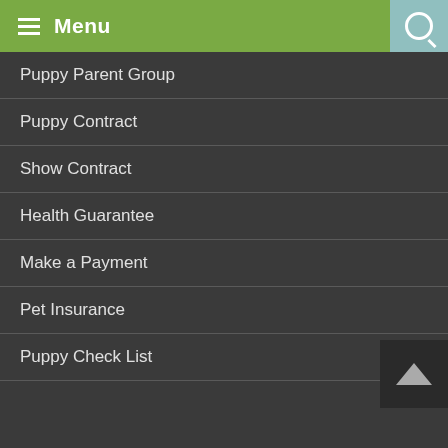Menu
Puppy Parent Group
Puppy Contract
Show Contract
Health Guarantee
Make a Payment
Pet Insurance
Puppy Check List
Puppy Camera
Video Tour RMBT
Health Testing
Travel Plans
Biewer Owner Map
About Teacups
Truth About Dog Food